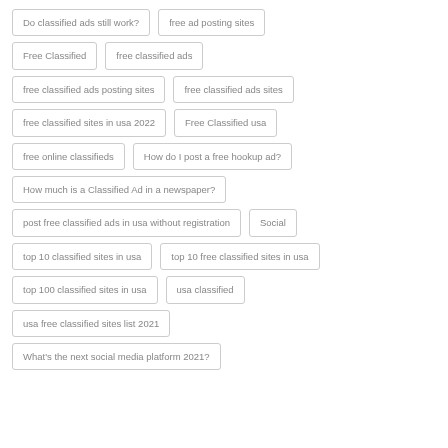Do classified ads still work?
free ad posting sites
Free Classified
free classified ads
free classified ads posting sites
free classified ads sites
free classified sites in usa 2022
Free Classified usa
free online classifieds
How do I post a free hookup ad?
How much is a Classified Ad in a newspaper?
post free classified ads in usa without registration
Social
top 10 classified sites in usa
top 10 free classified sites in usa
top 100 classified sites in usa
usa classified
usa free classified sites list 2021
What's the next social media platform 2021?